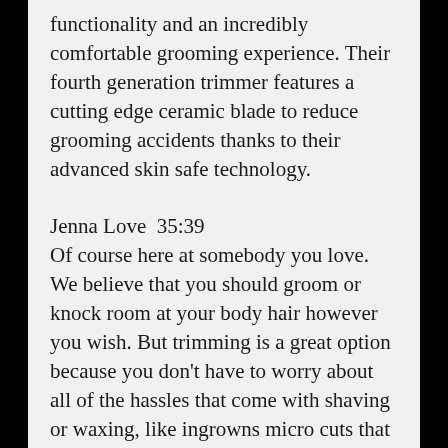functionality and an incredibly comfortable grooming experience. Their fourth generation trimmer features a cutting edge ceramic blade to reduce grooming accidents thanks to their advanced skin safe technology.
Jenna Love  35:39
Of course here at somebody you love. We believe that you should groom or knock room at your body hair however you wish. But trimming is a great option because you don't have to worry about all of the hassles that come with shaving or waxing, like ingrowns micro cuts that awful itching when it grows back and also irritating the delicate